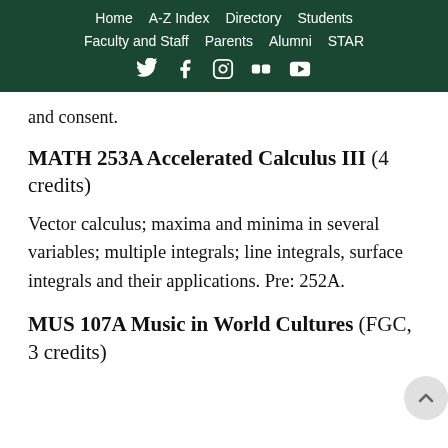Home | A-Z Index | Directory | Students | Faculty and Staff | Parents | Alumni | STAR
and consent.
MATH 253A Accelerated Calculus III (4 credits)
Vector calculus; maxima and minima in several variables; multiple integrals; line integrals, surface integrals and their applications. Pre: 252A.
MUS 107A Music in World Cultures (FGC, 3 credits)